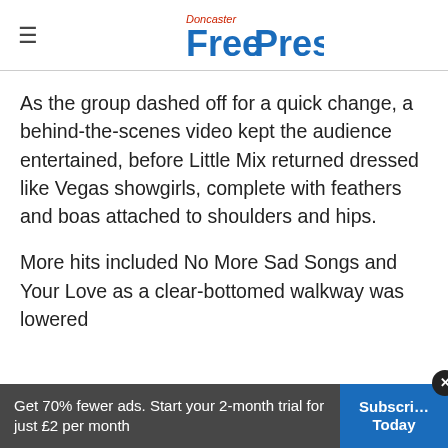Doncaster Free Press
As the group dashed off for a quick change, a behind-the-scenes video kept the audience entertained, before Little Mix returned dressed like Vegas showgirls, complete with feathers and boas attached to shoulders and hips.
More hits included No More Sad Songs and Your Love as a clear-bottomed walkway was lowered
Get 70% fewer ads. Start your 2-month trial for just £2 per month
Subscribe Today